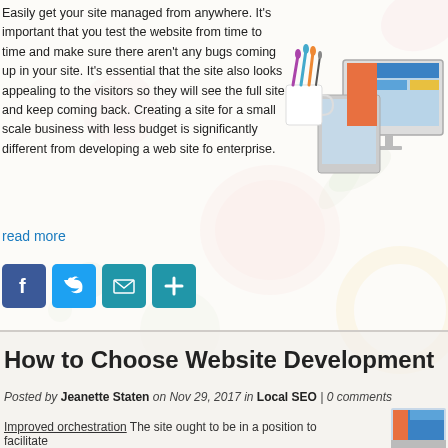Easily get your site managed from anywhere. It's important that you test the website from time to time and make sure there aren't any bugs coming up in your site. It's essential that the site also looks appealing to the visitors so they will see the full site and keep coming back. Creating a site for a small scale business with less budget is significantly different from developing a web site for enterprise.
[Figure (illustration): Illustration of a desktop monitor, tablet and a cup with paintbrushes, representing website development tools]
read more
[Figure (infographic): Social sharing icons: Facebook, Twitter, Email, and Share (plus) buttons in blue rounded squares]
How to Choose Website Development
Posted by Jeanette Staten on Nov 29, 2017 in Local SEO | 0 comments
Improved orchestration The site ought to be in a position to facilitate